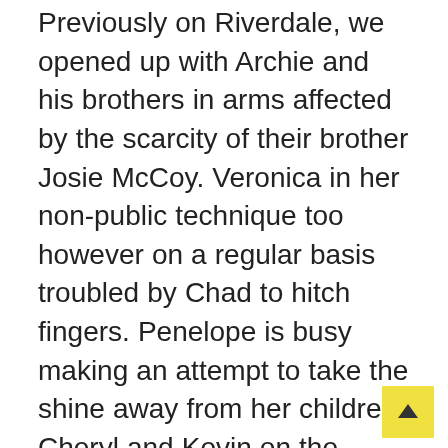Previously on Riverdale, we opened up with Archie and his brothers in arms affected by the scarcity of their brother Josie McCoy. Veronica in her non-public technique too however on a regular basis troubled by Chad to hitch fingers. Penelope is busy making an attempt to take the shine away from her children Cheryl and Kevin on the church. Lastly, Jughead is as soon as extra from restoration hoping to fulfill Betty who's accessible available on the market someplace engaged on the lonely freeway. Jughead will be requested to go on administrative go away from his job. Plus he ought to ship an absolute basic novel quickly. Amidst all of this, it's Tabith who comforts him.